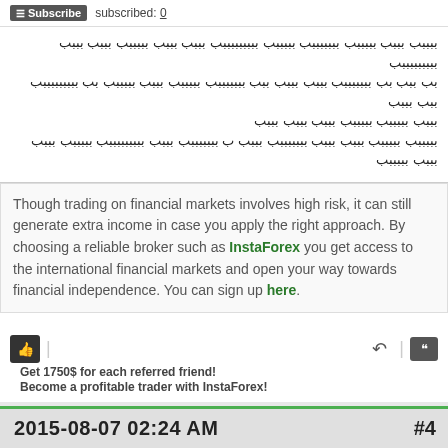Subscribe  subscribed: 0
[Arabic text - forum post content]
Though trading on financial markets involves high risk, it can still generate extra income in case you apply the right approach. By choosing a reliable broker such as InstaForex you get access to the international financial markets and open your way towards financial independence. You can sign up here.
Get 1750$ for each referred friend! Become a profitable trader with InstaForex!
2015-08-07 02:24 AM   #4
sumonyahoo24
Senior Member